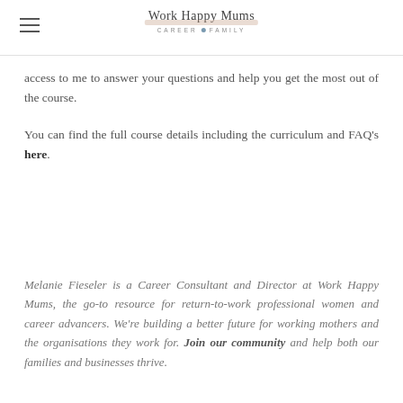Work Happy Mums • CAREER • FAMILY
access to me to answer your questions and help you get the most out of the course.
You can find the full course details including the curriculum and FAQ's here.
Melanie Fieseler is a Career Consultant and Director at Work Happy Mums, the go-to resource for return-to-work professional women and career advancers. We're building a better future for working mothers and the organisations they work for. Join our community and help both our families and businesses thrive.